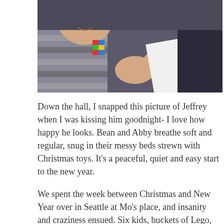[Figure (photo): Close-up photograph of a child (Jeffrey) in a striped shirt with a Lego-themed top, smiling, being kissed goodnight. The child is holding a white piece of paper or book. Another person in a dark shirt is visible to the right.]
Down the hall, I snapped this picture of Jeffrey when I was kissing him goodnight- I love how happy he looks. Bean and Abby breathe soft and regular, snug in their messy beds strewn with Christmas toys. It's a peaceful, quiet and easy start to the new year.
We spent the week between Christmas and New Year over in Seattle at Mo's place, and insanity and craziness ensued. Six kids, buckets of Lego, new Wii games, and no one has a car big enough for all of us to go anywhere